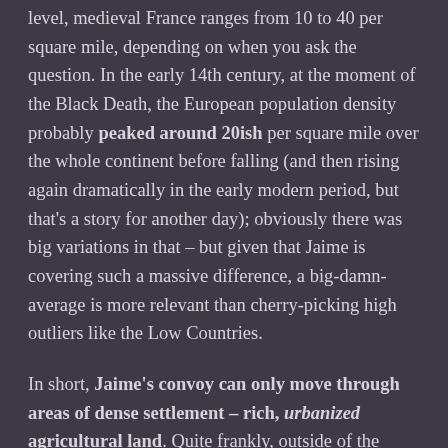level, medieval France ranges from 10 to 40 per square mile, depending on when you ask the question. In the early 14th century, at the moment of the Black Death, the European population density probably peaked around 20ish per square mile over the whole continent before falling (and then rising again dramatically in the early modern period, but that's a story for another day); obviously there was big variations in that – but given that Jaime is covering such a massive difference, a big-damn-average is more relevant than cherry-picking high outliers like the Low Countries.

In short, Jaime's convoy can only move through areas of dense settlement – rich, urbanized agricultural land. Quite frankly, outside of the Crownlands, that kind of human terrain doesn't exist in much of